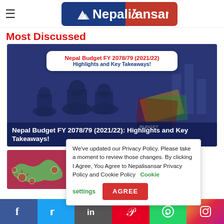Nepali Sansar
Most Discussed
[Figure (photo): Nepal Budget FY 2078/79 (2021/22): Highlights and Key Takeaways! — main feature image with people and currency notes over blue overlay]
[Figure (photo): Nepal COVID map thumbnail image]
We've updated our Privacy Policy. Please take a moment to review those changes. By clicking I Agree, You Agree to Nepalisansar Privacy Policy and Cookie Policy  Cookie settings  AGREE
Facebook  Twitter  LinkedIn  Pinterest  WhatsApp  Instagram